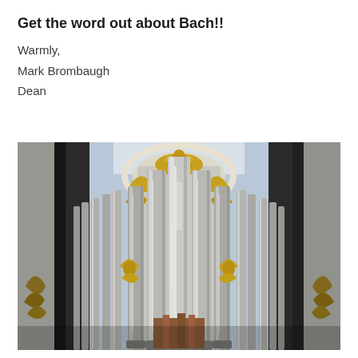Get the word out about Bach!!
Warmly,
Mark Brombaugh
Dean
[Figure (photo): Close-up photograph of a large pipe organ with silver metal pipes of varying sizes arranged vertically, decorated with ornate gold baroque scrollwork and carvings. The pipes are framed by white architectural molding with an arched top. Additional decorative gold flourishes appear at the sides and between pipe groupings.]